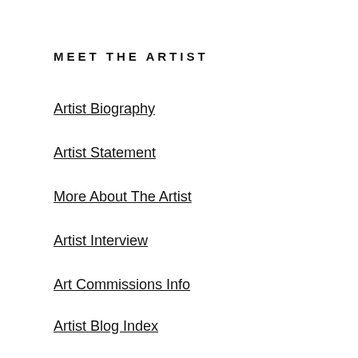MEET THE ARTIST
Artist Biography
Artist Statement
More About The Artist
Artist Interview
Art Commissions Info
Artist Blog Index
Oil Paintings Index